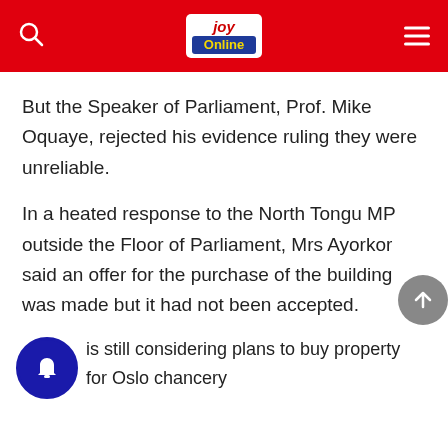JoyOnline
But the Speaker of Parliament, Prof. Mike Oquaye, rejected his evidence ruling they were unreliable.
In a heated response to the North Tongu MP outside the Floor of Parliament, Mrs Ayorkor said an offer for the purchase of the building was made but it had not been accepted.
is still considering plans to buy property for Oslo chancery